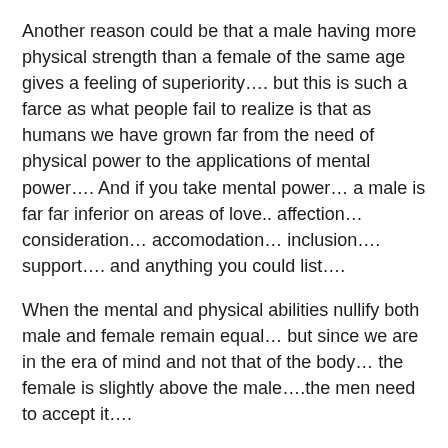Another reason could be that a male having more physical strength than a female of the same age gives a feeling of superiority…. but this is such a farce as what people fail to realize is that as humans we have grown far from the need of physical power to the applications of mental power…. And if you take mental power… a male is far far inferior on areas of love.. affection… consideration… accomodation… inclusion…. support…. and anything you could list….
When the mental and physical abilities nullify both male and female remain equal… but since we are in the era of mind and not that of the body… the female is slightly above the male….the men need to accept it….
Many times the Lack of respect a male shows to a female is because of a percieved superiority feeling….. but strongly driven by a very deep rooted inferiority feeling that they are lesser than the woman…
When they see women rise up in professions they thought they were the rulers… when they see that women are free to walk and do what only they use to do before…. when they see that